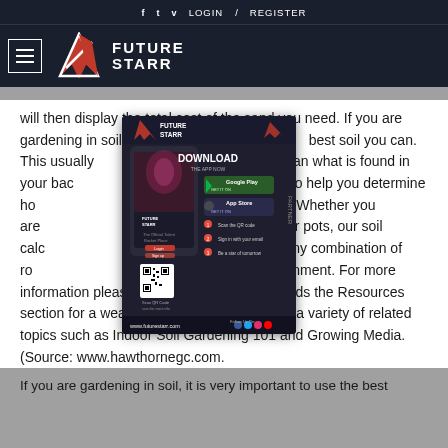f  t  v  LOGIN  /  REGISTER
[Figure (logo): FutureStarr logo with hamburger menu icon on dark navy background]
will then display the total cost of the sand you need. If you are gardening in soil, [ad overlay] best soil you can. This usually [ad overlay] er than what is found in your bac [ad overlay] be used to help you determine ho [ad overlay] ners will need. Whether you are [ad overlay] on buckets, or pots, our soil calc [ad overlay] k and match any combination of ro [ad overlay] rs for you environment. For more information please point your attention towards the Resources section for a wealth of information regarding a variety of related topics such as Indoor Soil Gardening 101 and Growing Media. (Source: www.hawthornegc.com.
[Figure (screenshot): FutureStarr app advertisement popup showing Download The App Now with Google Play and App Store badges, QR code, and www.futurestarr.com URL]
If you are gardening in soil, it is very important to use the best